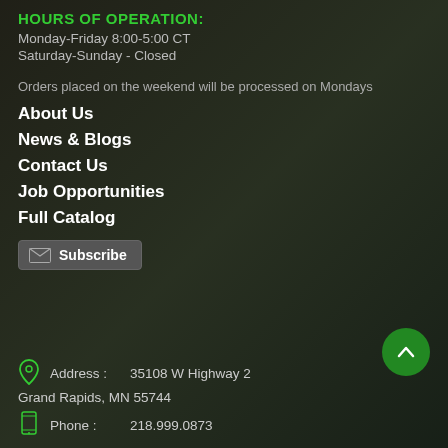HOURS OF OPERATION:
Monday-Friday 8:00-5:00 CT
Saturday-Sunday - Closed
Orders placed on the weekend will be processed on Mondays
About Us
News & Blogs
Contact Us
Job Opportunities
Full Catalog
Subscribe
Address :   35108 W Highway 2
Grand Rapids, MN 55744
Phone :   218.999.0873